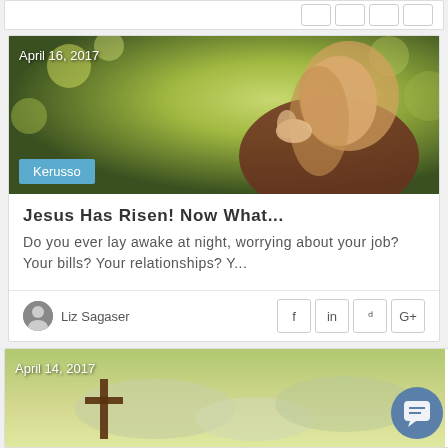[Figure (photo): Woman with blonde hair praying with hands clasped, eyes closed, outdoors with green bokeh background. Date label 'April 16, 2017' and category badge 'Kerusso' overlaid.]
Jesus Has Risen! Now What...
Do you ever lay awake at night, worrying about your job? Your bills? Your relationships? Y...
Liz Sagaser
[Figure (photo): Partial view of a cross against a dramatic sky. Date label 'April 14, 2017' overlaid. Chat bubble icon in bottom right.]